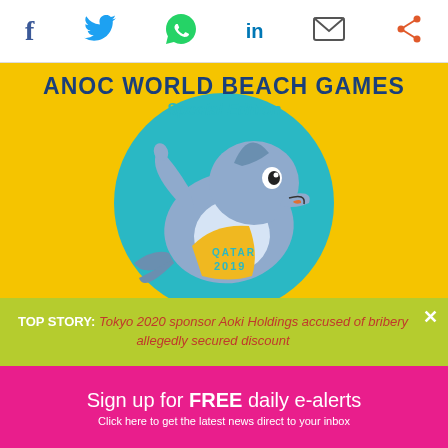[Figure (illustration): Social media sharing icons: Facebook, Twitter, WhatsApp, LinkedIn, Email, Share]
[Figure (illustration): ANOC World Beach Games Special Edition banner with yellow background, teal circle, dolphin mascot wearing yellow shirt with QATAR 2019 text]
TOP STORY: Tokyo 2020 sponsor Aoki Holdings accused of bribery allegedly secured discount
Sign up for FREE daily e-alerts
Click here to get the latest news direct to your inbox